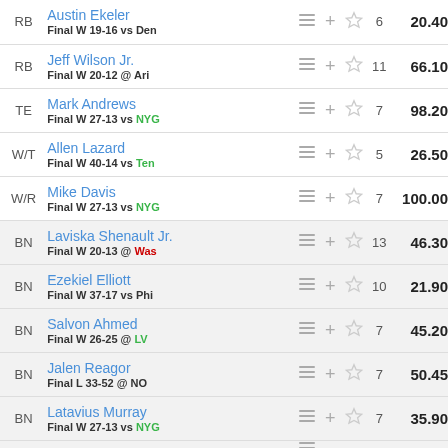| POS | PLAYER |  | + | ★ | % | PTS |
| --- | --- | --- | --- | --- | --- | --- |
| RB | Austin Ekeler / Final W 19-16 vs Den |  | + | ☆ | 6 | 20.40 |
| RB | Jeff Wilson Jr. / Final W 20-12 @ Ari |  | + | ☆ | 11 | 66.10 |
| TE | Mark Andrews / Final W 27-13 vs NYG |  | + | ☆ | 7 | 98.20 |
| W/T | Allen Lazard / Final W 40-14 vs Ten |  | + | ☆ | 5 | 26.50 |
| W/R | Mike Davis / Final W 27-13 vs NYG |  | + | ☆ | 7 | 100.00 |
| BN | Laviska Shenault Jr. / Final W 20-13 @ Was |  | + | ☆ | 13 | 46.30 |
| BN | Ezekiel Elliott / Final W 37-17 vs Phi |  | + | ☆ | 10 | 21.90 |
| BN | Salvon Ahmed / Final W 26-25 @ LV |  | + | ☆ | 7 | 45.20 |
| BN | Jalen Reagor / Final L 33-52 @ NO |  | + | ☆ | 7 | 50.45 |
| BN | Latavius Murray / Final W 27-13 vs NYG |  | + | ☆ | 7 | 35.90 |